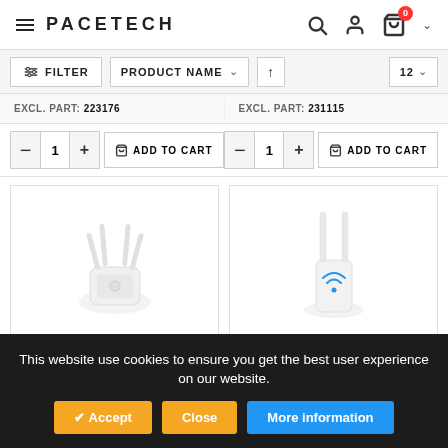PACETECH — navigation header with search, user, and cart icons
FILTER | PRODUCT NAME ↑ | 12
EXCL. PART: 223176   EXCL. PART: 231115
— 1 + ADD TO CART   — 1 + ADD TO CART
[Figure (photo): WiFi range extender / repeater device with multiple antennas on white background]
[Figure (photo): White WiFi router/repeater device with two antennas and WiFi signal icon on white background]
This website use cookies to ensure you get the best user experience on our website.
✔ Accept   Close   More information